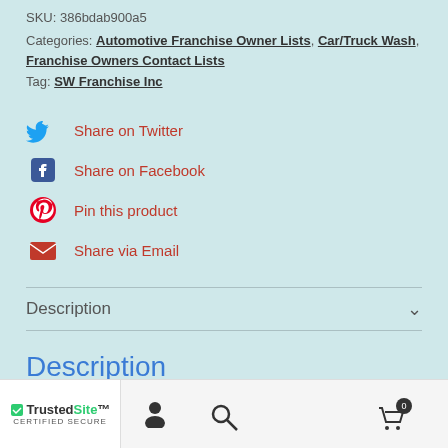SKU: 386bdab900a5
Categories: Automotive Franchise Owner Lists, Car/Truck Wash, Franchise Owners Contact Lists
Tag: SW Franchise Inc
Share on Twitter
Share on Facebook
Pin this product
Share via Email
Description
Description